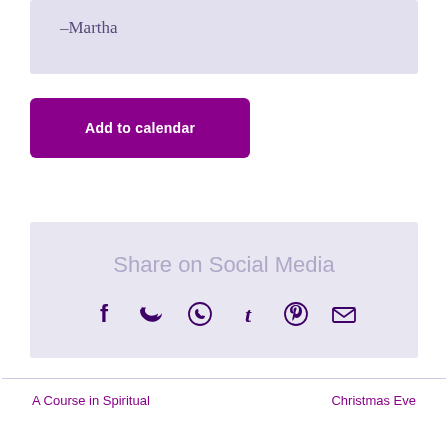–Martha
Add to calendar
Share on Social Media
[Figure (infographic): Row of social media sharing icons: Facebook, Twitter, WhatsApp, Tumblr, Pinterest, Email]
A Course in Spiritual
Christmas Eve